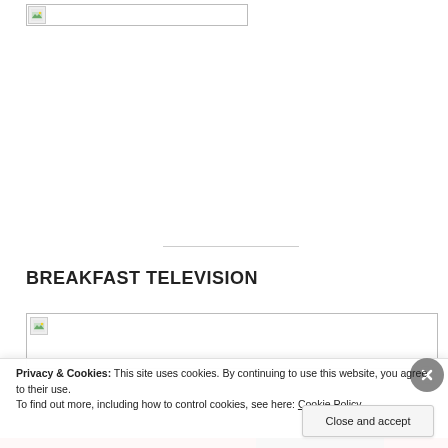[Figure (screenshot): Broken image placeholder at top of page, small icon with green/landscape thumbnail]
BREAKFAST TELEVISION
[Figure (screenshot): Broken image placeholder for Breakfast Television section]
Privacy & Cookies: This site uses cookies. By continuing to use this website, you agree to their use.
To find out more, including how to control cookies, see here: Cookie Policy
Close and accept